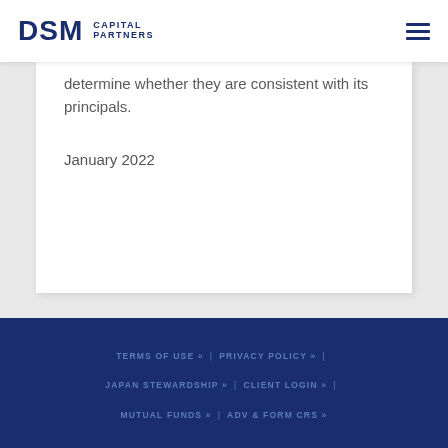DSM CAPITAL PARTNERS
determine whether they are consistent with its principals.
January 2022
TERMS OF USE » | PRIVACY POLICY » | JAPAN STEWARDSHIP » | CLIENT LOGIN » | MUTUAL FUNDS » | ADV & FORM CRS »